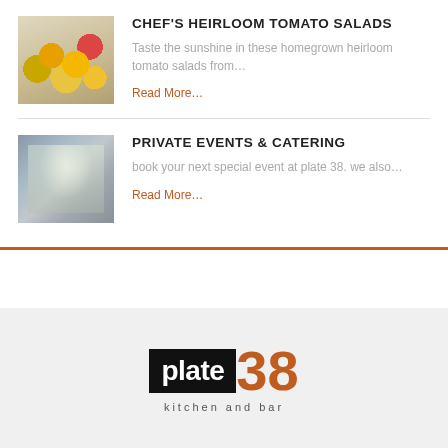[Figure (photo): Photo of heirloom tomatoes, yellow and red, in a bowl]
CHEF'S HEIRLOOM TOMATO SALADS
Taste the sunshine in these homegrown heirloom tomato salads from…
Read More…
[Figure (photo): Photo of a catered table setting with flowers and place settings]
PRIVATE EVENTS & CATERING
book your next special event at plate 38. we also…
Read More…
[Figure (logo): Plate 38 Kitchen and Bar logo — black box with 'plate' in white, orange '38', and tagline 'kitchen and bar']